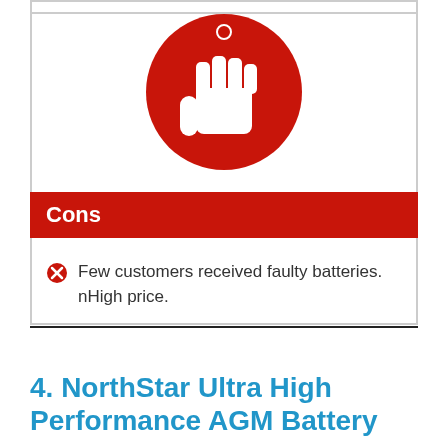[Figure (illustration): Red circle with white thumbs-down icon]
Cons
Few customers received faulty batteries. nHigh price.
4. NorthStar Ultra High Performance AGM Battery